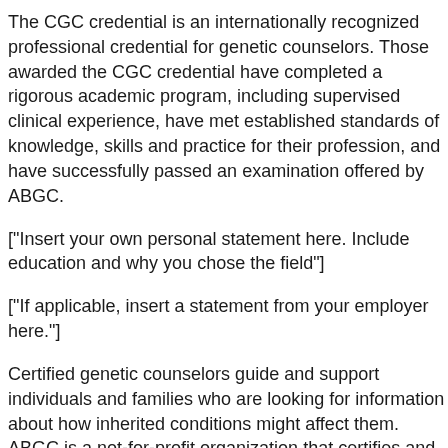The CGC credential is an internationally recognized professional credential for genetic counselors. Those awarded the CGC credential have completed a rigorous academic program, including supervised clinical experience, have met established standards of knowledge, skills and practice for their profession, and have successfully passed an examination offered by ABGC.
["Insert your own personal statement here. Include education and why you chose the field"]
["If applicable, insert a statement from your employer here."]
Certified genetic counselors guide and support individuals and families who are looking for information about how inherited conditions might affect them. ABGC is a not-for-profit organization that certifies and recertifies genetic